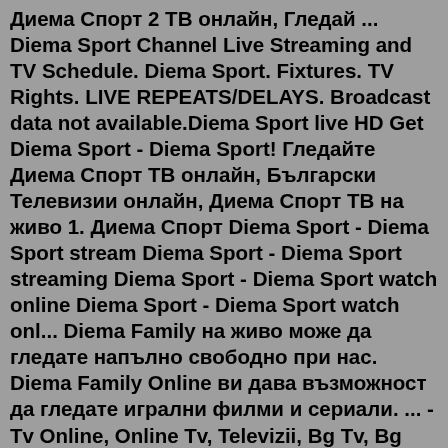Диема Спорт 2 ТВ онлайн, Гледай ... Diema Sport Channel Live Streaming and TV Schedule. Diema Sport. Fixtures. TV Rights. LIVE REPEATS/DELAYS. Broadcast data not available.Diema Sport live HD Get Diema Sport - Diema Sport! Гледайте Диема Спорт ТВ онлайн, Български Телевизии онлайн, Диема Спорт ТВ на живо 1. Диема Спорт Diema Sport - Diema Sport stream Diema Sport - Diema Sport streaming Diema Sport - Diema Sport watch online Diema Sport - Diema Sport watch onl... Diema Family на живо може да гледате напълно свободно при нас. Diema Family Online ви дава възможност да гледате игрални филми и сериали. ... - Tv Online, Online Tv, Televizii, Bg Tv, Bg Televizii, Online Televizii, Онлайн Телевизии, Diema, Diema ...Diema Sport live HD Get Diema Sport - Diema Sport! Гледайте Диема Спорт ТВ онлайн, Български Телевизии онлайн, Диема Спорт ТВ на живо 1. Диема Спорт Diema Sport - Diema Sport stream Diema Sport - Diema Sport streaming Diema Sport - Diema Sport